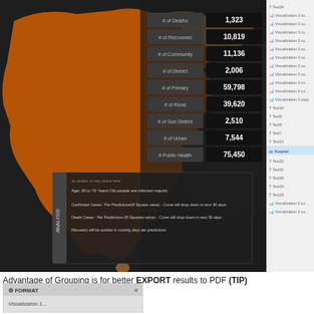[Figure (screenshot): Screenshot of a dark-themed Map Box visualization dashboard showing a map of India with orange/tan regions and a statistics panel on the right with metrics: Deaths 1,323; Recovered 10,819; Community 11,136; District 2,006; Primary 59,798; Rural 39,620; Sub District 2,510; Urban 7,544; Public Health 75,450. An ANALYSIS box at the bottom shows predictions. A side navigation panel shows T and chart icons.]
Advantage of Grouping is for better EXPORT results to PDF (TIP)
Map Box Visualization – Dark Theme
[Figure (screenshot): FORMAT panel dialog box with a close X button and partial text 'Visualization 1...' below]